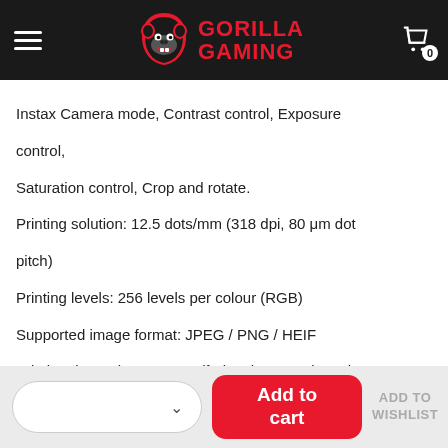Gorilla Gaming
Instax Camera mode, Contrast control, Exposure control,
Saturation control, Crop and rotate.
Printing solution: 12.5 dots/mm (318 dpi, 80 μm dot pitch)
Printing levels: 256 levels per colour (RGB)
Supported image format: JPEG / PNG / HEIF
Printing time: Photo Output (fed out): Approximately 12 sec
Film detection: Yes (Automatic ejection when inserted)
Approximate printing capacity: Approximately 100 prints (from full charge)
The number of prints depends on the usage